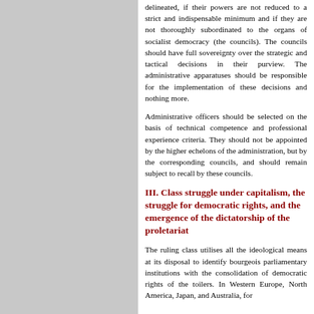delineated, if their powers are not reduced to a strict and indispensable minimum and if they are not thoroughly subordinated to the organs of socialist democracy (the councils). The councils should have full sovereignty over the strategic and tactical decisions in their purview. The administrative apparatuses should be responsible for the implementation of these decisions and nothing more.
Administrative officers should be selected on the basis of technical competence and professional experience criteria. They should not be appointed by the higher echelons of the administration, but by the corresponding councils, and should remain subject to recall by these councils.
III. Class struggle under capitalism, the struggle for democratic rights, and the emergence of the dictatorship of the proletariat
The ruling class utilises all the ideological means at its disposal to identify bourgeois parliamentary institutions with the consolidation of democratic rights of the toilers. In Western Europe, North America, Japan, and Australia, for